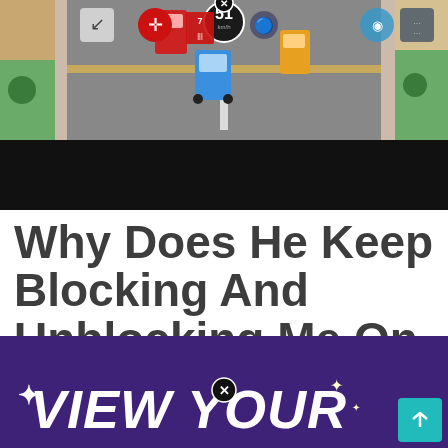[Figure (screenshot): Mobile game screenshot showing a top-down road scene with vehicles, a speedometer showing 51 km/h, game HUD icons, and a close button. Below the game scene is a black band.]
Why Does He Keep Blocking And Unblocking Me On Snapchat
Youtube is doing it now too. Astrology may have the answer.
[Figure (screenshot): Purple advertisement banner with white bold italic text reading '*VIEW YOUR' with a teal scroll-up arrow button and a close button overlay.]